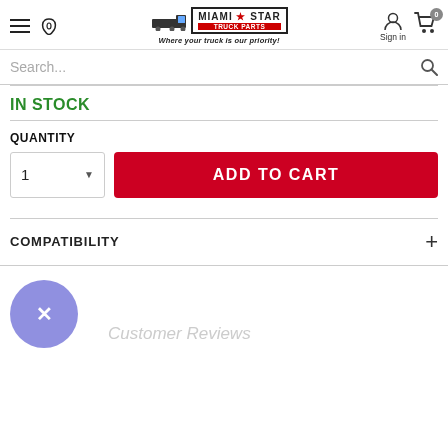[Figure (logo): Miami Star Truck Parts logo with truck icon and tagline 'Where your truck is our priority!']
Search...
IN STOCK
QUANTITY
ADD TO CART
COMPATIBILITY
Customer Reviews